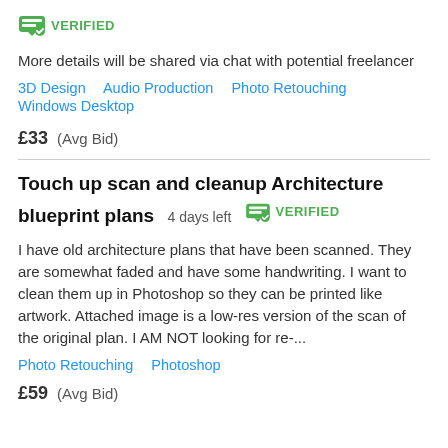[Figure (other): Green verified badge icon with checkmark and VERIFIED text]
More details will be shared via chat with potential freelancer
3D Design   Audio Production   Photo Retouching   Windows Desktop
£33  (Avg Bid)
Touch up scan and cleanup Architecture blueprint plans  4 days left  VERIFIED
I have old architecture plans that have been scanned. They are somewhat faded and have some handwriting. I want to clean them up in Photoshop so they can be printed like artwork. Attached image is a low-res version of the scan of the original plan. I AM NOT looking for re-...
Photo Retouching   Photoshop
£59  (Avg Bid)